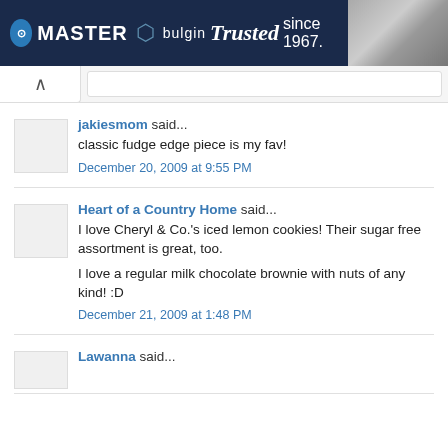[Figure (screenshot): Master Electronics and Bulgin advertisement banner: 'Trusted since 1967.' with photo of warehouse shelving]
jakiesmom said...
classic fudge edge piece is my fav!
December 20, 2009 at 9:55 PM
Heart of a Country Home said...
I love Cheryl & Co.'s iced lemon cookies! Their sugar free assortment is great, too.

I love a regular milk chocolate brownie with nuts of any kind! :D
December 21, 2009 at 1:48 PM
Lawanna said...